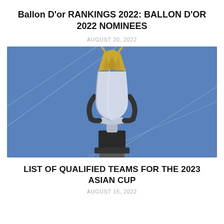Ballon D'or RANKINGS 2022: BALLON D'OR 2022 NOMINEES
AUGUST 20, 2022
[Figure (photo): A silver and gold trophy cup displayed against a blue background with geometric line decorations. The trophy has ornate feather-like designs on the cup portion and a dark base.]
LIST OF QUALIFIED TEAMS FOR THE 2023 ASIAN CUP
AUGUST 15, 2022